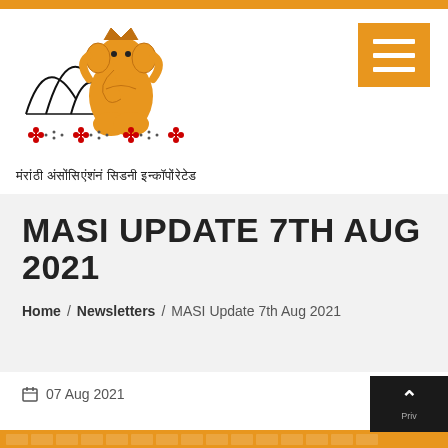[Figure (logo): MASI logo with Ganesha figure and Sydney Opera House silhouette, with decorative Rangoli pattern below, and Marathi text below reading 'मंरांठी अंसोंसिएंशंनं सिडनी इन्कॉपोंरेटेड']
MASI UPDATE 7TH AUG 2021
Home / Newsletters / MASI Update 7th Aug 2021
07 Aug 2021